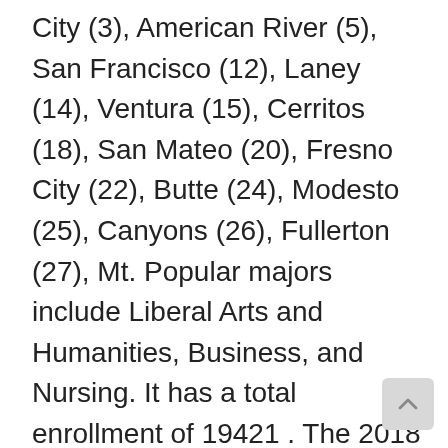City (3), American River (5), San Francisco (12), Laney (14), Ventura (15), Cerritos (18), San Mateo (20), Fresno City (22), Butte (24), Modesto (25), Canyons (26), Fullerton (27), Mt. Popular majors include Liberal Arts and Humanities, Business, and Nursing. It has a total enrollment of 19421 . The 2018 California Community College Football Poll is a